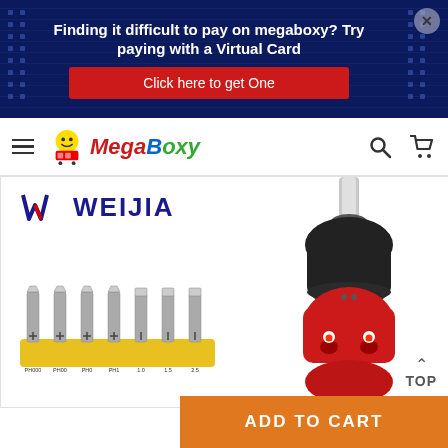[Figure (screenshot): MegaBoxy e-commerce website screenshot showing a promotional banner, navigation bar, and a Weijia screwdriver product page with bits and handle.]
Finding it difficult to pay on megaboxy? Try paying with a Virtual Card
Click here to get One
[Figure (logo): MegaBoxy logo with shopping cart icon and colorful text]
[Figure (photo): Weijia branded screwdriver set product photo showing screwdriver bits in yellow holder and red/black screwdriver handle]
ADD TO CART